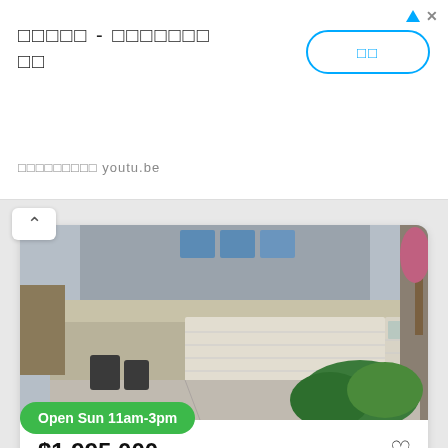□□□□□ - □□□□□□□ □□
□□□□□□□□□ youtu.be
[Figure (photo): Exterior photo of a residential property showing garage doors and driveway with shrubs]
$1,995,000
4 Beds  1 Baths
122 W Avenida De Los Lobos Marinos
San Clemente, CA 92672
Open Sun 11am-3pm